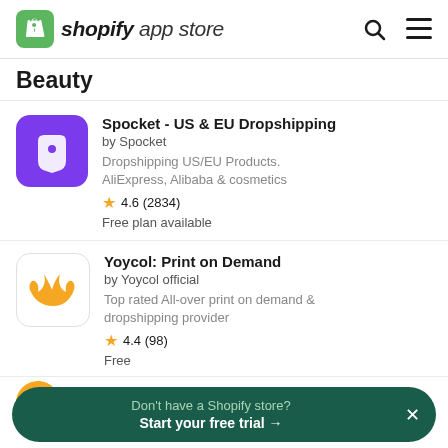shopify app store
Beauty
Spocket - US & EU Dropshipping
by Spocket
Dropshipping US/EU Products. AliExpress, Alibaba & cosmetics
4.6 (2834)
Free plan available
Yoycol: Print on Demand
by Yoycol official
Top rated All-over print on demand & dropshipping provider
4.4 (98)
Free
by ViaGlamour Beauty
Don't have a Shopify store? Start your free trial →